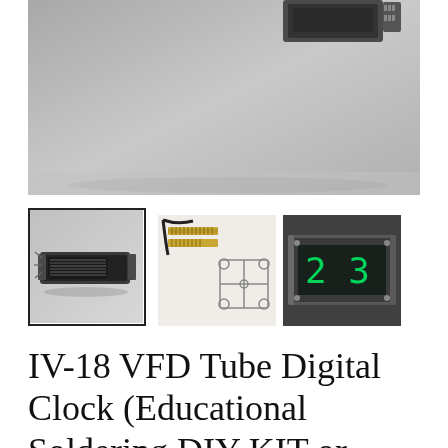[Figure (photo): Main product photo showing IV-18 VFD tube digital clock device on a gray background, partial top view showing electronic components]
[Figure (photo): Thumbnail 1 (selected, with border): Close-up of the VFD clock device assembled, shown on a light background]
[Figure (photo): Thumbnail 2: Components and parts of the DIY kit including connectors and brackets laid out on white background]
[Figure (photo): Thumbnail 3: Close-up of VFD tube display showing green glowing digits]
IV-18 VFD Tube Digital Clock (Educational Soldering DIY KIT or Fully Assembled)